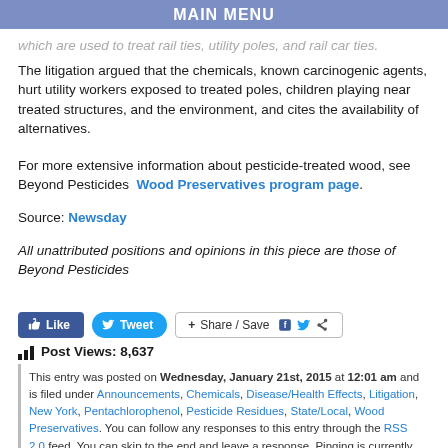MAIN MENU
which are used to treat rail ties, utility poles, and rail car ties. The litigation argued that the chemicals, known carcinogenic agents, hurt utility workers exposed to treated poles, children playing near treated structures, and the environment, and cites the availability of alternatives.
For more extensive information about pesticide-treated wood, see Beyond Pesticides  Wood Preservatives program page.
Source: Newsday
All unattributed positions and opinions in this piece are those of Beyond Pesticides
[Figure (other): Social media buttons: Like, Tweet, Share/Save with Facebook and Twitter icons]
Post Views: 8,637
This entry was posted on Wednesday, January 21st, 2015 at 12:01 am and is filed under Announcements, Chemicals, Disease/Health Effects, Litigation, New York, Pentachlorophenol, Pesticide Residues, State/Local, Wood Preservatives. You can follow any responses to this entry through the RSS 2.0 feed. You can skip to the end and leave a response. Pinging is currently not allowed.